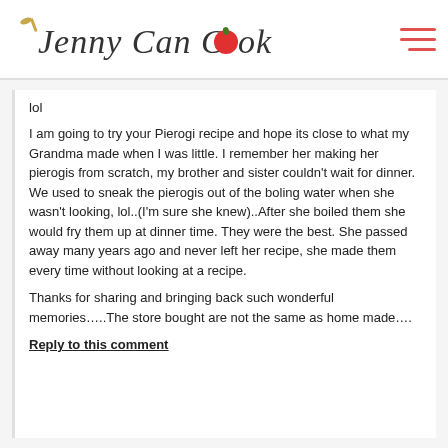Jenny Can Cook
lol
I am going to try your Pierogi recipe and hope its close to what my Grandma made when I was little. I remember her making her pierogis from scratch, my brother and sister couldn't wait for dinner. We used to sneak the pierogis out of the boling water when she wasn't looking, lol..(I'm sure she knew)..After she boiled them she would fry them up at dinner time. They were the best. She passed away many years ago and never left her recipe, she made them every time without looking at a recipe.
Thanks for sharing and bringing back such wonderful memories…..The store bought are not the same as home made….
Reply to this comment